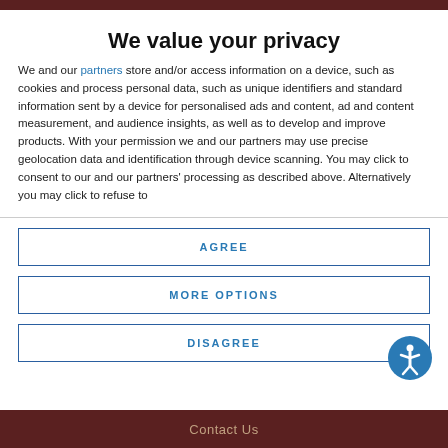We value your privacy
We and our partners store and/or access information on a device, such as cookies and process personal data, such as unique identifiers and standard information sent by a device for personalised ads and content, ad and content measurement, and audience insights, as well as to develop and improve products. With your permission we and our partners may use precise geolocation data and identification through device scanning. You may click to consent to our and our partners' processing as described above. Alternatively you may click to refuse to
AGREE
MORE OPTIONS
DISAGREE
Contact Us